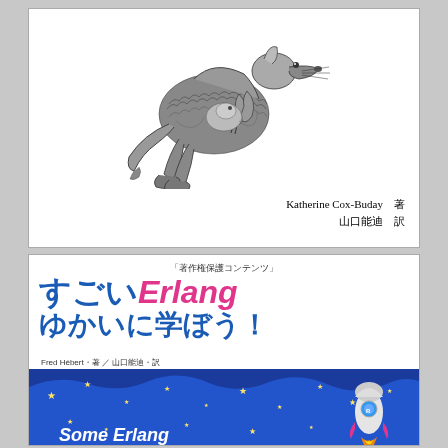[Figure (illustration): Book cover showing a black-and-white illustration of a kangaroo, with author credits 'Katherine Cox-Buday 著' and '山口能迪 訳' at bottom right]
[Figure (illustration): Book cover for 'すごいErlang ゆかいに学ぼう!' (Learn You Some Erlang for Great Good! Japanese edition). Top white background with blue and pink Japanese/English title text, copyright notice '「著作権保護コンテンツ」'. Bottom portion shows blue starry background with rocket illustration and text 'Some Erlang'. Authors: Fred Hébert 著 / 山口能迪 訳]